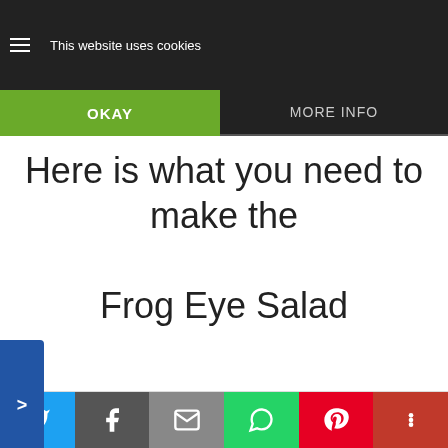This website uses cookies
OKAY
MORE INFO
Here is what you need to make the Frog Eye Salad
SUGAR
FLOUR
SALT
PINEAPPLE JUICE